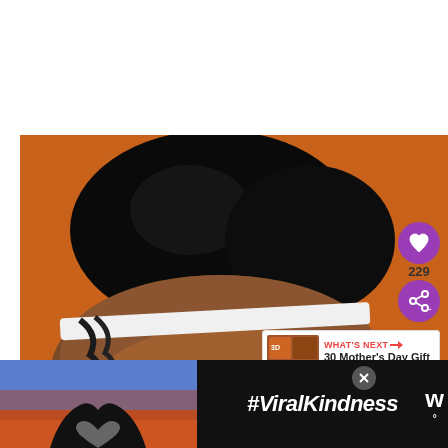[Figure (photo): Close-up photo of a person with natural black hair styled in a large puff/updo bun on top of their head, wearing a white headband. Orange/warm background. The person's forehead and temples are visible below the styled hair.]
[Figure (infographic): UI overlay elements: purple heart like button, count '229', purple share button with plus icon, 'WHAT'S NEXT' arrow label in red with thumbnail and text '30 Mother's Day Gift Ide...']
[Figure (infographic): Advertisement bar at bottom: dark background with hands forming heart shape, '#ViralKindness' hashtag text in white italic, close button X, and W° logo.]